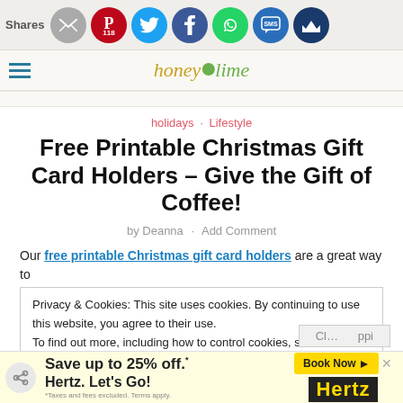Shares | Share icons: email, Pinterest 118, Twitter, Facebook, WhatsApp, SMS, Crown
honey & lime — navigation logo and hamburger menu
holidays · Lifestyle
Free Printable Christmas Gift Card Holders – Give the Gift of Coffee!
by Deanna · Add Comment
Our free printable Christmas gift card holders are a great way to
Privacy & Cookies: This site uses cookies. By continuing to use this website, you agree to their use.
To find out more, including how to control cookies, see here: Cookie Policy
Ad: Save up to 25% off.* Hertz. Let's Go! *Taxes and fees excluded. Terms apply. Book Now | Hertz